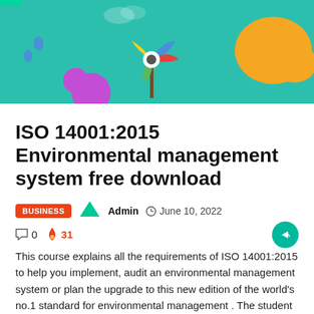[Figure (illustration): Colorful cartoon illustration with teal background, pinwheel/windmill, clouds, water drops, flowers, and orange tree — environmental/nature theme]
ISO 14001:2015 Environmental management system free download
BUSINESS  Admin  June 10, 2022  0  31
This course explains all the requirements of ISO 14001:2015 to help you implement, audit an environmental management system or plan the upgrade to this new edition of the world's no.1 standard for environmental management . The student will be able to take